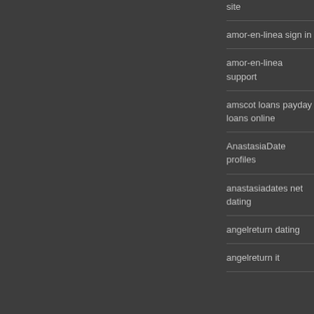site
amor-en-linea sign in
amor-en-linea support
amscot loans payday loans online
AnastasiaDate profiles
anastasiadates net dating
angelreturn dating
angelreturn it